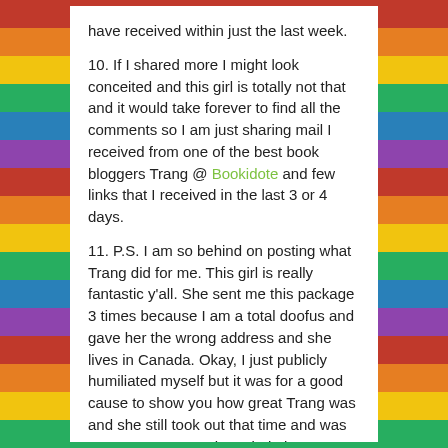have received within just the last week.
10. If I shared more I might look conceited and this girl is totally not that and it would take forever to find all the comments so I am just sharing mail I received from one of the best book bloggers Trang @ Bookidote and few links that I received in the last 3 or 4 days.
11. P.S. I am so behind on posting what Trang did for me. This girl is really fantastic y'all. She sent me this package 3 times because I am a total doofus and gave her the wrong address and she lives in Canada. Okay, I just publicly humiliated myself but it was for a good cause to show you how great Trang was and she still took out that time and was so sweet to me and worried about me! She's just awesome, positive and badass!
12. There's also some faithful followers that just mean so much to me and y'all know who you are!😊❤ Well I hope you do.🤔😮